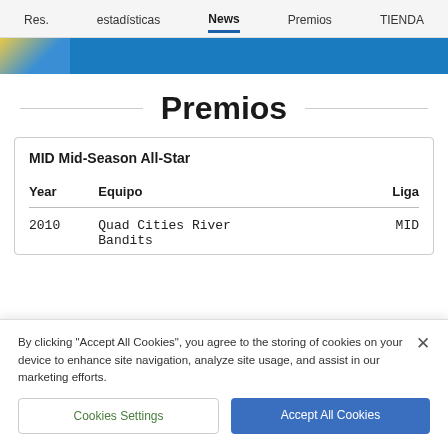Res.   estadísticas   News   Premios   TIENDA
[Figure (screenshot): Navigation banner with image and blue background strip]
Premios
MID Mid-Season All-Star
| Year | Equipo | Liga |
| --- | --- | --- |
| 2010 | Quad Cities River Bandits | MID |
By clicking "Accept All Cookies", you agree to the storing of cookies on your device to enhance site navigation, analyze site usage, and assist in our marketing efforts.
Cookies Settings   Accept All Cookies